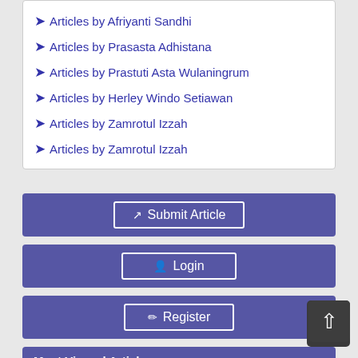Articles by Afriyanti Sandhi
Articles by Prasasta Adhistana
Articles by Prastuti Asta Wulaningrum
Articles by Herley Windo Setiawan
Articles by Zamrotul Izzah
Articles by Zamrotul Izzah
Submit Article
Login
Register
Most Viewed Articles
Dental Development between Assisted Reproductive Therapy (Art) and